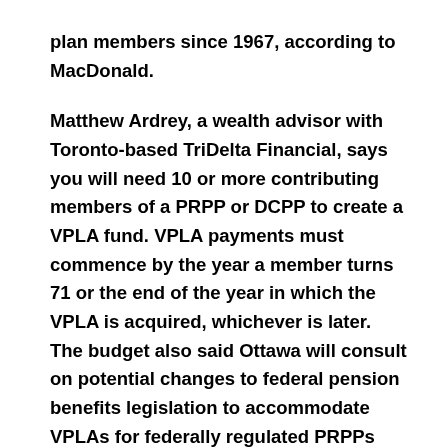plan members since 1967, according to MacDonald.
Matthew Ardrey, a wealth advisor with Toronto-based TriDelta Financial, says you will need 10 or more contributing members of a PRPP or DCPP to create a VPLA fund. VPLA payments must commence by the year a member turns 71 or the end of the year in which the VPLA is acquired, whichever is later. The budget also said Ottawa will consult on potential changes to federal pension benefits legislation to accommodate VPLAs for federally regulated PRPPs and DC RPPs, and may need to amend provincial legislation.
But it's ALDAs that initially captured the attention...